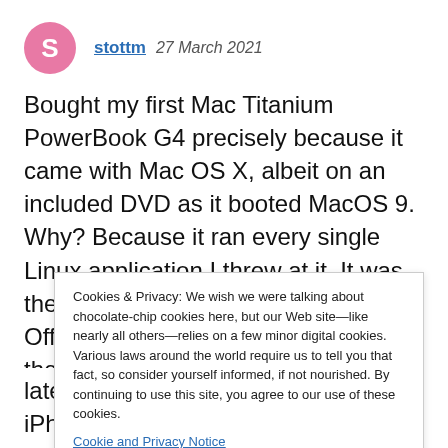[Figure (illustration): Pink circular avatar with white letter S]
stottm  27 March 2021
Bought my first Mac Titanium PowerBook G4 precisely because it came with Mac OS X, albeit on an included DVD as it booted MacOS 9. Why? Because it ran every single Linux application I threw at it. It was the best of both worlds and you had Office and Adobe apps on top. When they switched
Cookies & Privacy: We wish we were talking about chocolate-chip cookies here, but our Web site—like nearly all others—relies on a few minor digital cookies. Various laws around the world require us to tell you that fact, so consider yourself informed, if not nourished. By continuing to use this site, you agree to our use of these cookies. Cookie and Privacy Notice
latest macOS 11. It's also in every iPhone, iPad,